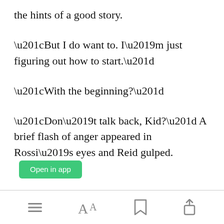the hints of a good story.
“But I do want to. I’m just figuring out how to start.”
“With the beginning?”
“Don’t talk back, Kid?” A brief flash of anger appeared in Rossi’s eyes and Reid gulped.
[Figure (screenshot): Mobile app toolbar with menu, font, bookmark, and share icons]